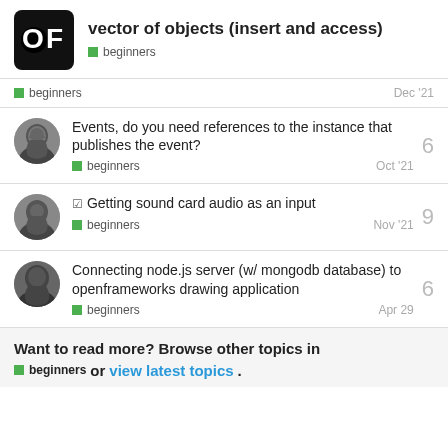vector of objects (insert and access) — beginners
beginners — Dec '21
Events, do you need references to the instance that publishes the event? beginners Oct '21 — 6 replies
☑ Getting sound card audio as an input — beginners Nov '21 — 9 replies
Connecting node.js server (w/ mongodb database) to openframeworks drawing application — beginners Apr 29 — 6 replies
Want to read more? Browse other topics in beginners or view latest topics.